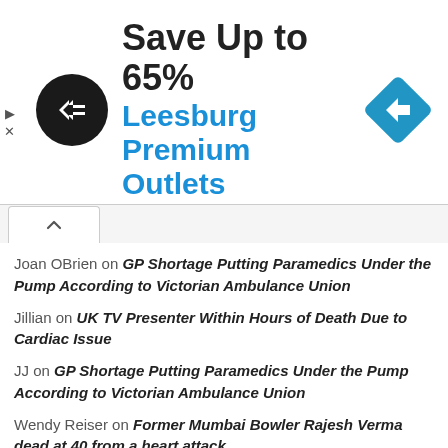[Figure (other): Advertisement banner: Black circular logo with arrow symbol, headline 'Save Up to 65%', subline 'Leesburg Premium Outlets' in blue, blue diamond navigation icon on right. Play and X controls on left side.]
Joan OBrien on GP Shortage Putting Paramedics Under the Pump According to Victorian Ambulance Union
Jillian on UK TV Presenter Within Hours of Death Due to Cardiac Issue
JJ on GP Shortage Putting Paramedics Under the Pump According to Victorian Ambulance Union
Wendy Reiser on Former Mumbai Bowler Rajesh Verma dead at 40 from a heart attack
Linden on PA Hospital Brisbane Overwhelmed with double-parked Ambulances
Linden on Vax-checked stamp causes outrage.
Jane Rowen on UK TV Presenter Within Hours of Death Due to